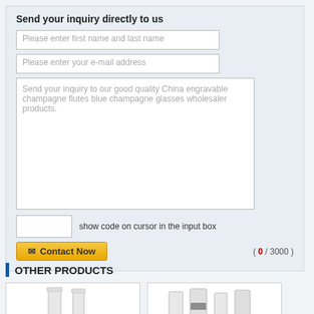Send your inquiry directly to us
Please enter first name and last name
Please enter your e-mail address
Send your inquiry to our good quality China engravable champagne flutes blue champagne glasses wholesaler products.
show code on cursor in the input box
( 0 / 3000 )
Contact Now
OTHER PRODUCTS
[Figure (photo): Product thumbnail showing champagne flutes]
[Figure (photo): Product thumbnail showing champagne glasses]